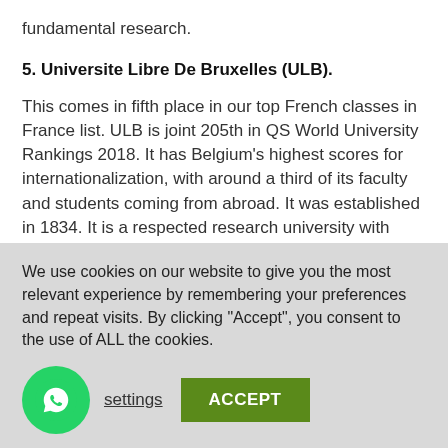fundamental research.
5. Universite Libre De Bruxelles (ULB).
This comes in fifth place in our top French classes in France list. ULB is joint 205th in QS World University Rankings 2018. It has Belgium's highest scores for internationalization, with around a third of its faculty and students coming from abroad. It was established in 1834. It is a respected research university with three Nobel Prize Winners, one Fields Medal winner, three Wolf Prizes, and two Marie Curie Prizes
We use cookies on our website to give you the most relevant experience by remembering your preferences and repeat visits. By clicking “Accept”, you consent to the use of ALL the cookies.